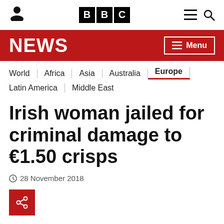BBC NEWS
World | Africa | Asia | Australia | Europe | Latin America | Middle East
Irish woman jailed for criminal damage to €1.50 crisps
28 November 2018